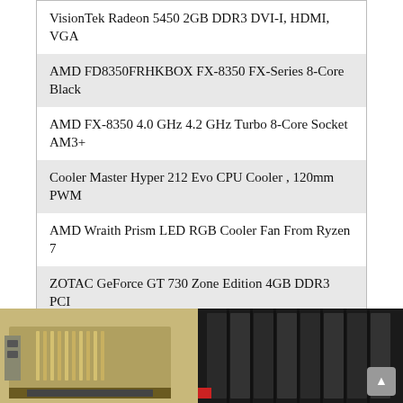VisionTek Radeon 5450 2GB DDR3 DVI-I, HDMI, VGA
AMD FD8350FRHKBOX FX-8350 FX-Series 8-Core Black
AMD FX-8350 4.0 GHz 4.2 GHz Turbo 8-Core Socket AM3+
Cooler Master Hyper 212 Evo CPU Cooler , 120mm PWM
AMD Wraith Prism LED RGB Cooler Fan From Ryzen 7
ZOTAC GeForce GT 730 Zone Edition 4GB DDR3 PCI
MAXSUN AMD Radeon RX 550 4GB GDDR5 ITX Computer
ARCTIC MX-4 , Very High Thermal Conductivity, Long
GIGABYTE B550M DS3H...
Creative Sound Blaster Audigy FX PCIe 5.1 Sound Card With
1. VISIONTEK RADEON 5450 2GB DDR3 (DVI-I
[Figure (photo): Photo of VisionTek Radeon 5450 GPU card showing the PCIe card on the left (gold/bronze colored bracket and heatsink) and a black heatsink/cooler on the right side]